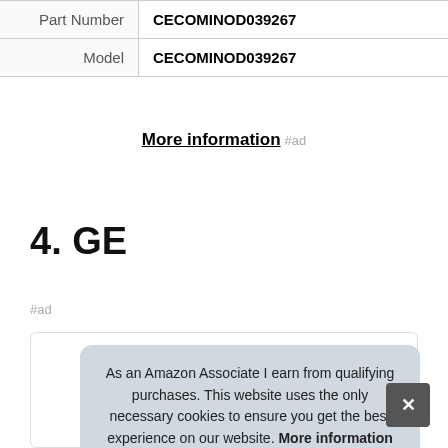| Part Number | CECOMINOD039267 |
| Model | CECOMINOD039267 |
More information #ad
4. GE
#ad
As an Amazon Associate I earn from qualifying purchases. This website uses the only necessary cookies to ensure you get the best experience on our website. More information